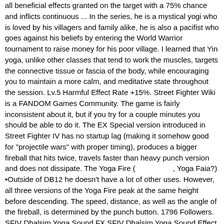all beneficial effects granted on the target with a 75% chance and inflicts continuous ... In the series, he is a mystical yogi who is loved by his villagers and family alike, he is also a pacifist who goes against his beliefs by entering the World Warrior tournament to raise money for his poor village. I learned that Yin yoga, unlike other classes that tend to work the muscles, targets the connective tissue or fascia of the body, while encouraging you to maintain a more calm, and meditative state throughout the session. Lv.5 Harmful Effect Rate +15%. Street Fighter Wiki is a FANDOM Games Community. The game is fairly inconsistent about it, but if you try for a couple minutes you should be able to do it. The EX Special version introduced in Street Fighter IV has no startup lag (making it somehow good for "projectile wars" with proper timing), produces a bigger fireball that hits twice, travels faster than heavy punch version and does not dissipate. The Yoga Fire (　　　　　, Yoga Faia?) •Outside of DB12 he doesn't have a lot of other uses. However, all three versions of the Yoga Fire peak at the same height before descending. The speed, distance, as well as the angle of the fireball, is determined by the punch button. 1796 Followers. SFIV Dhalsim Yoga Sound FX SFIV Dhalsim Yoga Sound Effect, SFIV Dhalsim Yoga Sound FX, Street Fighter Sounds, Dhalsim Sound Effects, Dhalsim Sound FX, SFIV Sound Effects, SF4 MP3, Street Fighter 4 Sound Effects Sound Bites Free, Noise MP3 Download, Ringtone MP3 If you're looking for detailed rune and stat builds you should take a look at. Large Collection of Sound Effects. Executed by performing two quarter-circle